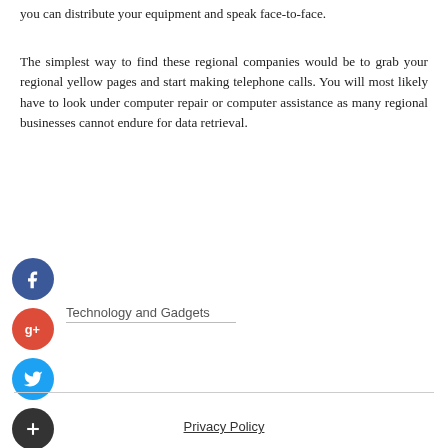you can distribute your equipment and speak face-to-face.
The simplest way to find these regional companies would be to grab your regional yellow pages and start making telephone calls. You will most likely have to look under computer repair or computer assistance as many regional businesses cannot endure for data retrieval.
[Figure (infographic): Four social media sharing buttons arranged vertically: Facebook (blue circle with 'f'), Google+ (red circle with 'g+'), Twitter (blue circle with bird icon), and a dark plus/add button.]
Technology and Gadgets
Privacy Policy